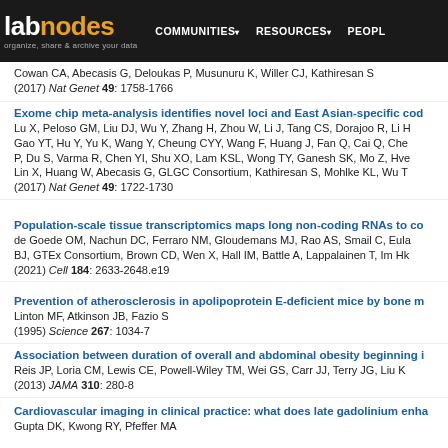labnodes — organize, share & archive your data | COMMUNITIES | RESOURCES | PEOPLE
Cowan CA, Abecasis G, Deloukas P, Musunuru K, Willer CJ, Kathiresan S
(2017) Nat Genet 49: 1758-1766
Exome chip meta-analysis identifies novel loci and East Asian-specific cod...
Lu X, Peloso GM, Liu DJ, Wu Y, Zhang H, Zhou W, Li J, Tang CS, Dorajoo R, Li H...
Gao YT, Hu Y, Yu K, Wang Y, Cheung CYY, Wang F, Huang J, Fan Q, Cai Q, Che...
P, Du S, Varma R, Chen YI, Shu XO, Lam KSL, Wong TY, Ganesh SK, Mo Z, Hve...
Lin X, Huang W, Abecasis G, GLGC Consortium, Kathiresan S, Mohlke KL, Wu T...
(2017) Nat Genet 49: 1722-1730
Population-scale tissue transcriptomics maps long non-coding RNAs to co...
de Goede OM, Nachun DC, Ferraro NM, Gloudemans MJ, Rao AS, Smail C, Eula...
BJ, GTEx Consortium, Brown CD, Wen X, Hall IM, Battle A, Lappalainen T, Im Hk...
(2021) Cell 184: 2633-2648.e19
Prevention of atherosclerosis in apolipoprotein E-deficient mice by bone m...
Linton MF, Atkinson JB, Fazio S
(1995) Science 267: 1034-7
Association between duration of overall and abdominal obesity beginning i...
Reis JP, Loria CM, Lewis CE, Powell-Wiley TM, Wei GS, Carr JJ, Terry JG, Liu K...
(2013) JAMA 310: 280-8
Cardiovascular imaging in clinical practice: what does late gadolinium enha...
Gupta DK, Kwong RY, Pfeffer MA